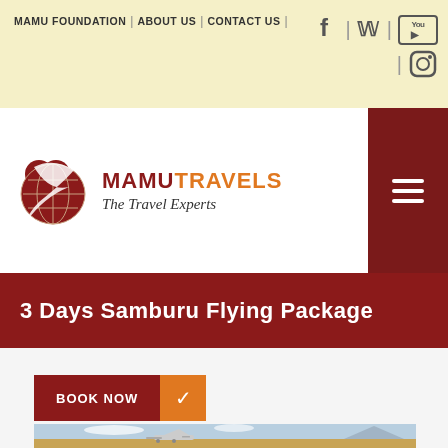MAMU FOUNDATION | ABOUT US | CONTACT US |
[Figure (logo): Mamu Travels logo with globe and heart icon, text reading MAMUTRAVELS The Travel Experts]
3 Days Samburu Flying Package
BOOK NOW ✓
[Figure (photo): A small propeller plane landing or taking off on a dirt airstrip in a dry African savanna landscape with mountains in the background]